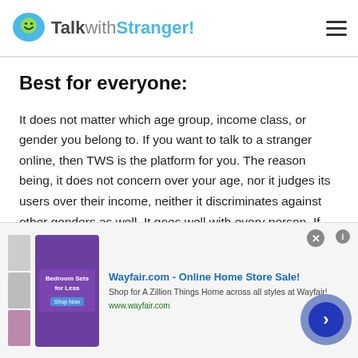TalkwithStranger!
Best for everyone:
It does not matter which age group, income class, or gender you belong to. If you want to talk to a stranger online, then TWS is the platform for you. The reason being, it does not concern over your age, nor it judges its users over their income, neither it discriminates against other genders as well. It goes well with every person. If you are a teenager, it can help you make new friends in your neighborhood, if you are an adult and love to travel, then you can
[Figure (screenshot): Wayfair.com advertisement banner: Online Home Store Sale! Shop for A Zillion Things Home across all styles at Wayfair! www.wayfair.com]